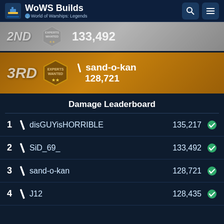WoWS Builds - World of Warships: Legends
[Figure (screenshot): 2nd place leaderboard banner showing rank 2ND with badge and score 133,492]
[Figure (screenshot): 3rd place leaderboard banner showing rank 3RD with Experts Wanted badge, username sand-o-kan, score 128,721]
Damage Leaderboard
1 / disGUYisHORRIBLE  135,217
2 / SiD_69_  133,492
3 / sand-o-kan  128,721
4 / J12  128,435